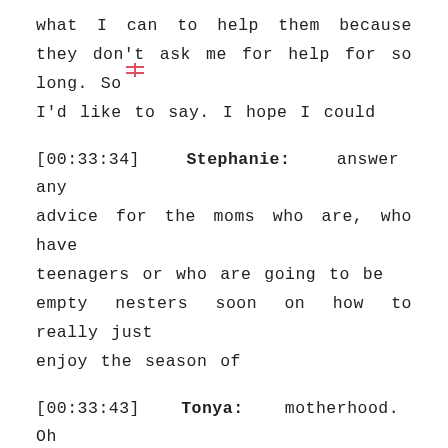what I can to help them because they don't ask me for help for so long. So I'd like to say. I hope I could
[00:33:34] Stephanie: answer any advice for the moms who are, who have teenagers or who are going to be empty nesters soon on how to really just enjoy the season of
[00:33:43] Tonya: motherhood. Oh gosh.